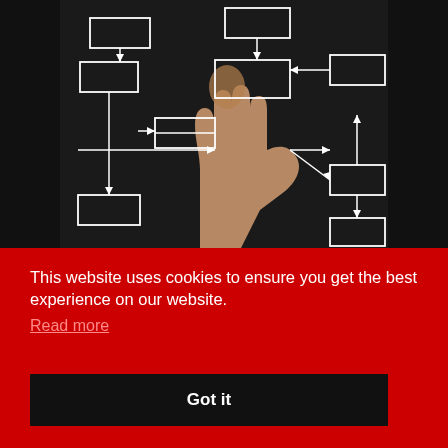[Figure (photo): Dark background with a hand pointing at a flowchart drawn in chalk/white lines on a blackboard. The flowchart shows multiple rectangular boxes connected by arrows in various directions.]
This website uses cookies to ensure you get the best experience on our website.
Read more
Got it
Gender equality
Achieve gender equality and empower all women and girls.
A psychosocial survey amongst employees resulted in an open dialogue between the management and office employees.